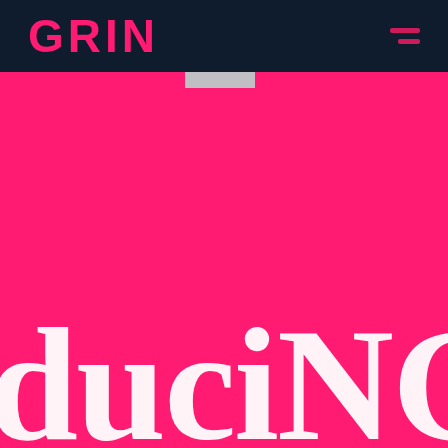GRIN
[Figure (screenshot): GRIN brand hero page with dark navy navigation bar showing GRIN logo in hot pink and hamburger menu icon, against a vivid hot pink background with large white partial text reading 'duciNG' (part of 'introducing')]